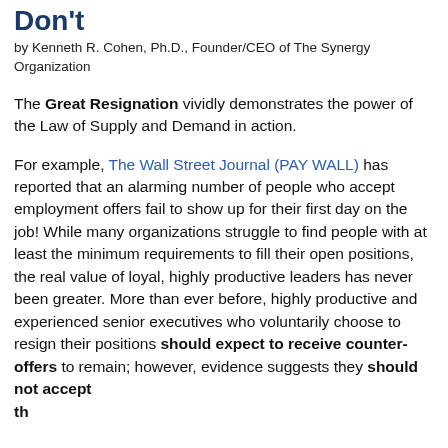Don't
by Kenneth R. Cohen, Ph.D., Founder/CEO of The Synergy Organization
The Great Resignation vividly demonstrates the power of the Law of Supply and Demand in action.
For example, The Wall Street Journal (PAY WALL) has reported that an alarming number of people who accept employment offers fail to show up for their first day on the job! While many organizations struggle to find people with at least the minimum requirements to fill their open positions, the real value of loyal, highly productive leaders has never been greater. More than ever before, highly productive and experienced senior executives who voluntarily choose to resign their positions should expect to receive counter-offers to remain; however, evidence suggests they should not accept them...